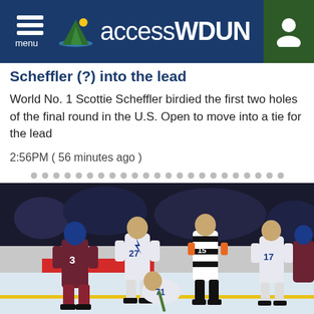accessWDUN
Scheffler (?) into the lead
World No. 1 Scottie Scheffler birdied the first two holes of the final round in the U.S. Open to move into a tie for the lead
2:56PM ( 56 minutes ago )
[Figure (photo): NHL hockey photo showing Colorado Avalanche players (number 3) and Tampa Bay Lightning players (numbers 27, 71, 17) with referee number 15 on the ice during what appears to be the Stanley Cup Finals.]